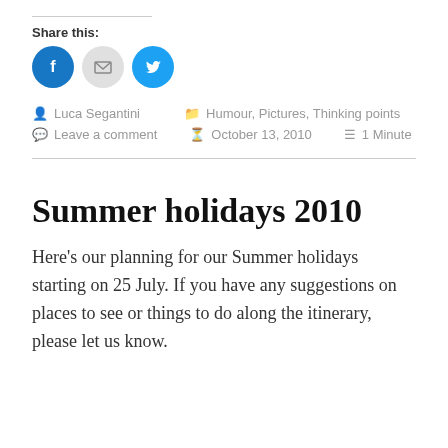Share this:
[Figure (other): Three social share buttons: Facebook (blue circle with F icon), Email (gray circle with envelope icon), Twitter (blue circle with bird icon)]
Luca Segantini   Humour, Pictures, Thinking points
Leave a comment   October 13, 2010   1 Minute
Summer holidays 2010
Here's our planning for our Summer holidays starting on 25 July. If you have any suggestions on places to see or things to do along the itinerary, please let us know.